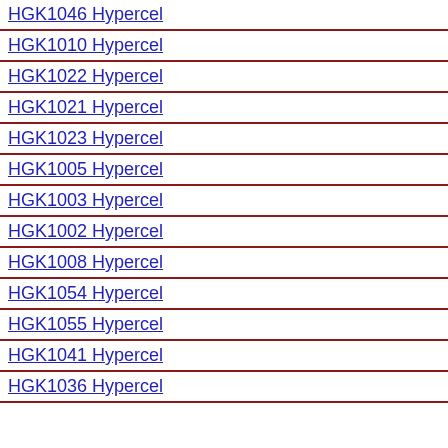HGK1046 Hypercel
HGK1010 Hypercel
HGK1022 Hypercel
HGK1021 Hypercel
HGK1023 Hypercel
HGK1005 Hypercel
HGK1003 Hypercel
HGK1002 Hypercel
HGK1008 Hypercel
HGK1054 Hypercel
HGK1055 Hypercel
HGK1041 Hypercel
HGK1036 Hypercel